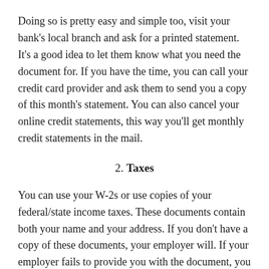Doing so is pretty easy and simple too, visit your bank’s local branch and ask for a printed statement. It’s a good idea to let them know what you need the document for. If you have the time, you can call your credit card provider and ask them to send you a copy of this month’s statement. You can also cancel your online credit statements, this way you’ll get monthly credit statements in the mail.
2. Taxes
You can use your W-2s or use copies of your federal/state income taxes. These documents contain both your name and your address. If you don’t have a copy of these documents, your employer will. If your employer fails to provide you with the document, you can contact the IRS and ask for a ‘wage and income transcript’. The transcript